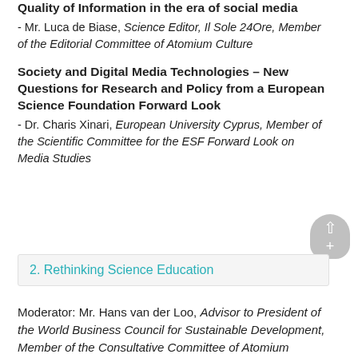Quality of Information in the era of social media
- Mr. Luca de Biase, Science Editor, Il Sole 24Ore, Member of the Editorial Committee of Atomium Culture
Society and Digital Media Technologies – New Questions for Research and Policy from a European Science Foundation Forward Look
- Dr. Charis Xinari, European University Cyprus, Member of the Scientific Committee for the ESF Forward Look on Media Studies
2. Rethinking Science Education
Moderator: Mr. Hans van der Loo, Advisor to President of the World Business Council for Sustainable Development, Member of the Consultative Committee of Atomium Culture